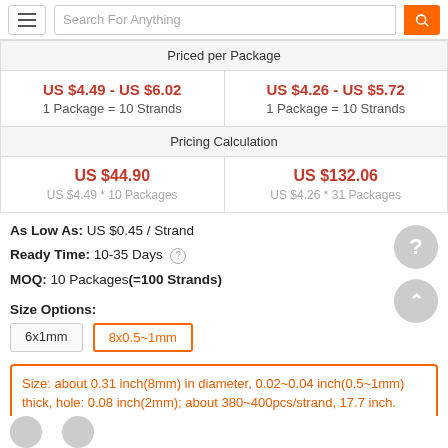Search For Anything
| Priced per Package |
| --- |
| US $4.49 - US $6.02
1 Package = 10 Strands | US $4.26 - US $5.72
1 Package = 10 Strands |
| Pricing Calculation | Pricing Calculation |
| US $44.90
US $4.49 * 10 Packages | US $132.06
US $4.26 * 31 Packages |
As Low As: US $0.45 / Strand
Ready Time: 10-35 Days
MOQ: 10 Packages(=100 Strands)
Size Options:
6x1mm
8x0.5~1mm
Size: about 0.31 inch(8mm) in diameter, 0.02~0.04 inch(0.5~1mm) thick, hole: 0.08 inch(2mm); about 380~400pcs/strand, 17.7 inch.